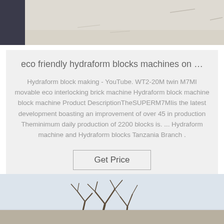[Figure (photo): Top portion of an outdoor photo showing a light-colored sandy or snowy ground with faint marks, partially showing a dark figure on the left edge.]
eco friendly hydraform blocks machines on …
Hydraform block making - YouTube. WT2-20M twin M7MI movable eco interlocking brick machine Hydraform block machine block machine Product DescriptionTheSUPERM7MIis the latest development boasting an improvement of over 45 in production Theminimum daily production of 2200 blocks is. ... Hydraform machine and Hydraform blocks Tanzania Branch .
Get Price
[Figure (photo): Bottom portion of an outdoor photo showing bare tree branches against a pale blue-grey sky.]